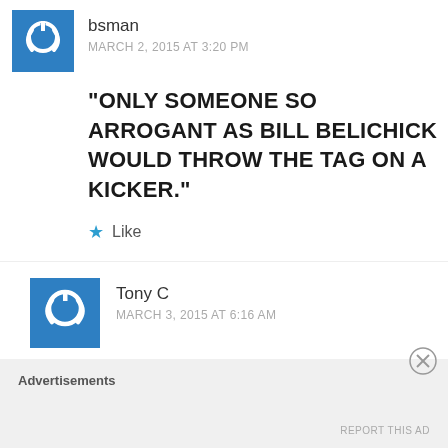[Figure (illustration): Blue square avatar with white power button icon for user bsman]
bsman
MARCH 2, 2015 AT 3:20 PM
“ONLY SOMEONE SO ARROGANT AS BILL BELICHICK WOULD THROW THE TAG ON A KICKER.”
★ Like
[Figure (illustration): Blue square avatar with white power button icon for user Tony C]
Tony C
MARCH 3, 2015 AT 6:16 AM
Why does it always have to be “Belichick is so arrogant” when people
Advertisements